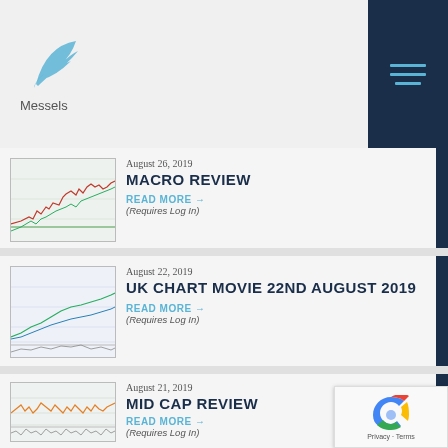Messels
August 26, 2019
MACRO REVIEW
READ MORE →
(Requires Log In)
[Figure (screenshot): Financial chart thumbnail showing stock market price data with green and red candlesticks]
August 22, 2019
UK CHART MOVIE 22ND AUGUST 2019
READ MORE →
(Requires Log In)
[Figure (screenshot): Financial chart thumbnail showing multiple line charts with market data]
August 21, 2019
MID CAP REVIEW
READ MORE →
(Requires Log In)
[Figure (screenshot): Financial chart thumbnail showing mid cap market data with price fluctuations]